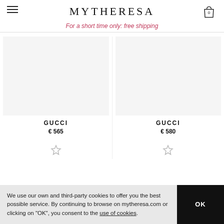MYTHERESA
For a short time only: free shipping
GUCCI
€ 565
GUCCI
€ 580
We use our own and third-party cookies to offer you the best possible service. By continuing to browse on mytheresa.com or clicking on "OK", you consent to the use of cookies.